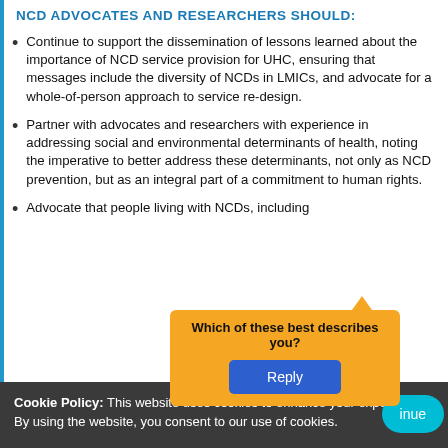NCD ADVOCATES AND RESEARCHERS SHOULD:
Continue to support the dissemination of lessons learned about the importance of NCD service provision for UHC, ensuring that messages include the diversity of NCDs in LMICs, and advocate for a whole-of-person approach to service re-design.
Partner with advocates and researchers with experience in addressing social and environmental determinants of health, noting the imperative to better address these determinants, not only as NCD prevention, but as an integral part of a commitment to human rights.
Advocate that people living with NCDs, including
Cookie Policy: This website uses cookies to enhance your experience. By using the website, you consent to our use of cookies.
Which of these best describes you?
Reply
inue